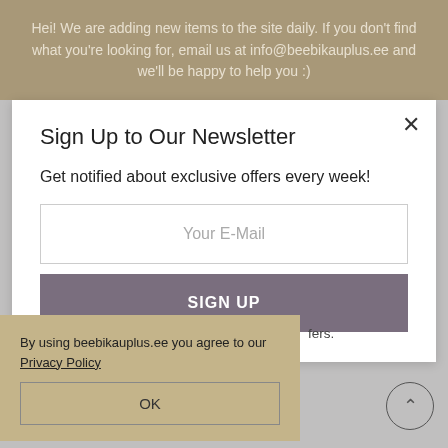Hei! We are adding new items to the site daily. If you don't find what you're looking for, email us at info@beebikauplus.ee and we'll be happy to help you :)
Sign Up to Our Newsletter
Get notified about exclusive offers every week!
Your E-Mail
SIGN UP
fers.
By using beebikauplus.ee you agree to our Privacy Policy
OK